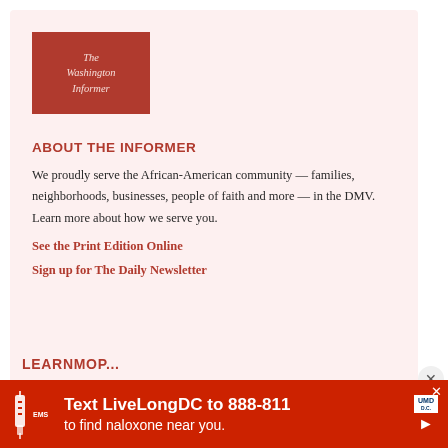[Figure (logo): The Washington Informer logo — white italic text on dark red square background]
ABOUT THE INFORMER
We proudly serve the African-American community — families, neighborhoods, businesses, people of faith and more — in the DMV. Learn more about how we serve you.
See the Print Edition Online
Sign up for The Daily Newsletter
[Figure (infographic): Advertisement bar: Text LiveLongDC to 888-811 to find naloxone near you.]